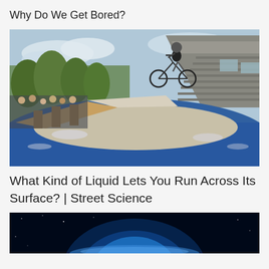Why Do We Get Bored?
[Figure (photo): A person riding a bicycle on top of a large pool of non-Newtonian fluid (oobleck), with a crowd of spectators watching on the left and a modern angular building in the background.]
What Kind of Liquid Lets You Run Across Its Surface? | Street Science
[Figure (photo): Planet Earth viewed from space against a dark starry background, partially illuminated, with blue glow at the horizon.]